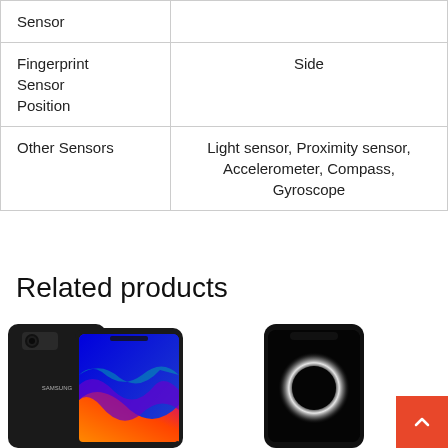| Feature | Value |
| --- | --- |
| Sensor |  |
| Fingerprint Sensor Position | Side |
| Other Sensors | Light sensor, Proximity sensor, Accelerometer, Compass, Gyroscope |
Related products
[Figure (photo): Samsung Galaxy J4+ smartphone shown from back and front, black color, with colorful abstract wallpaper on screen]
[Figure (photo): iPhone shown from front with eclipse/dark wallpaper on screen]